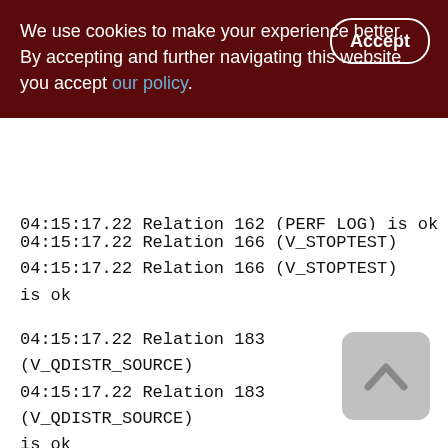We use cookies to make your experience better. By accepting and further navigating this website you accept our policy.
04:15:17.22 Relation 162 (PERF_LOG) is ok
04:15:17.22 Relation 166 (V_STOPTEST)
04:15:17.22 Relation 166 (V_STOPTEST) is ok
04:15:17.22 Relation 183 (V_QDISTR_SOURCE)
04:15:17.22 Relation 183 (V_QDISTR_SOURCE) is ok
04:15:17.22 Relation 184 (V_QSTORNED_SOURCE)
04:15:17.22 Relation 184 (V_QSTORNED_SOURCE) is ok